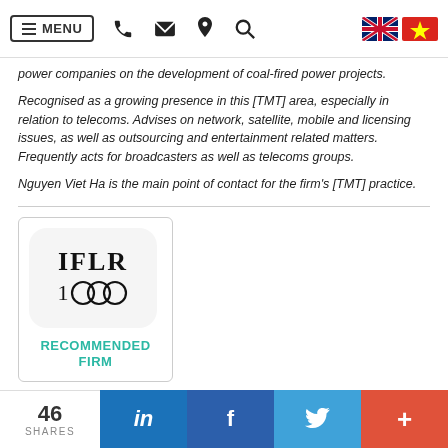MENU | phone | mail | location | search | UK flag | Vietnam flag
power companies on the development of coal-fired power projects.
Recognised as a growing presence in this [TMT] area, especially in relation to telecoms. Advises on network, satellite, mobile and licensing issues, as well as outsourcing and entertainment related matters. Frequently acts for broadcasters as well as telecoms groups.
Nguyen Viet Ha is the main point of contact for the firm's [TMT] practice.
[Figure (logo): IFLR1000 Recommended Firm badge with circular logo and teal text]
46 SHARES | LinkedIn | Facebook | Twitter | More